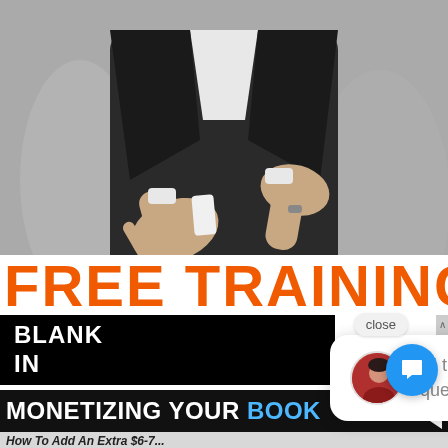[Figure (photo): Black and white photo of a man in a dark suit speaking/gesturing with hands, upper body visible, no face visible]
FREE TRAINING
BLANK
IN
[Figure (screenshot): Chat popup with close button and chat bubble from a woman avatar: 'Hi there, have a question? Text us here.']
MONETIZING YOUR BOOK
How To Add An Extra $6-7...